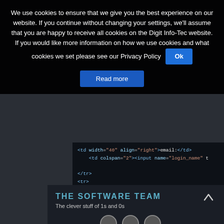We use cookies to ensure that we give you the best experience on our website. If you continue without changing your settings, we'll assume that you are happy to receive all cookies on the Digit Info-Tec website. If you would like more information on how we use cookies and what cookies we set please see our Privacy Policy  Ok
Read more
[Figure (screenshot): Screenshot of HTML code showing table and input elements in a dark code editor: <td width="40" align="right">email:</td>, <td colspan="2"><input name="login_name", </tr>, <tr>, <td align="right">pass:</td>, <td align="right"><input name="login_passw]
THE SOFTWARE TEAM
The clever stuff of 1s and 0s